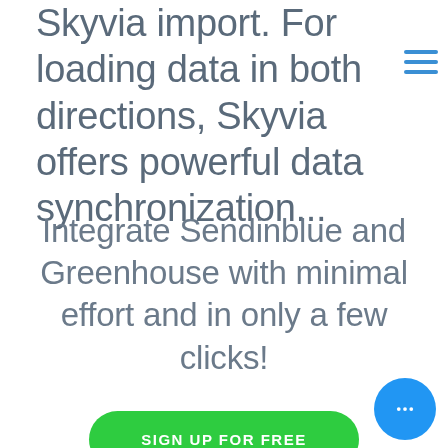Skyvia import. For loading data in both directions, Skyvia offers powerful data synchronization...
Integrate Sendinblue and Greenhouse with minimal effort and in only a few clicks!
SIGN UP FOR FREE